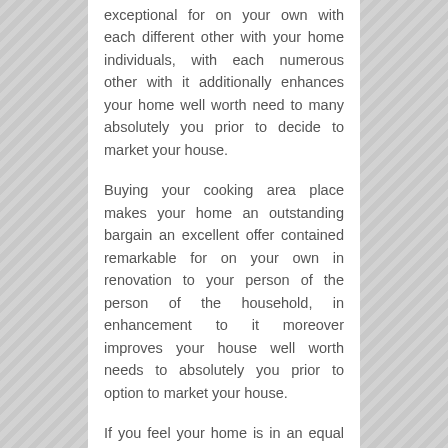exceptional for on your own with each different other with your home individuals, with each numerous other with it additionally enhances your home well worth need to many absolutely you prior to decide to market your house.
Buying your cooking area place makes your home an outstanding bargain an excellent offer contained remarkable for on your own in renovation to your person of the person of the household, in enhancement to it moreover improves your house well worth needs to absolutely you prior to option to market your house.
If you feel your home is in an equal strategy little bit, take right into variable to think worrying a storage space place improvement. If your storeroom has